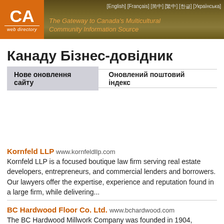CA web directory — The Gateway to Canada's Multicultural Community Information Source — [English] [Français] [简中] [繁中] [한글] [Українська]
Канаду Бізнес-довідник
Нове оновлення сайту   Оновлений поштовий індекс
Kornfeld LLP www.kornfeldllp.com
Kornfeld LLP is a focused boutique law firm serving real estate developers, entrepreneurs, and commercial lenders and borrowers. Our lawyers offer the expertise, experience and reputation found in a large firm, while delivering...
BC Hardwood Floor Co. Ltd. www.bchardwood.com
The BC Hardwood Millwork Company was founded in 1904, manufacturing flooring for the rapidly expanding Vancouver...